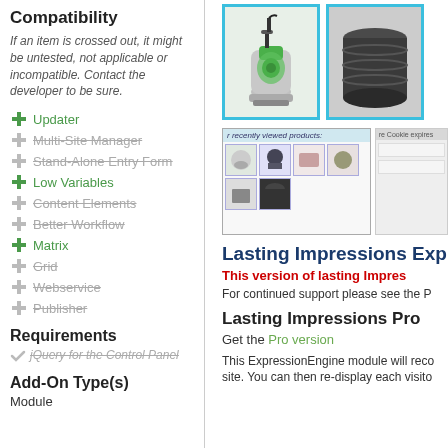Compatibility
If an item is crossed out, it might be untested, not applicable or incompatible. Contact the developer to be sure.
Updater
Multi-Site Manager (strikethrough)
Stand-Alone Entry Form (strikethrough)
Low Variables
Content Elements (strikethrough)
Better Workflow (strikethrough)
Matrix
Grid (strikethrough)
Webservice (strikethrough)
Publisher (strikethrough)
Requirements
jQuery for the Control Panel (strikethrough)
Add-On Type(s)
Module
[Figure (photo): Product image showing a green submersible pump with cyan border]
[Figure (photo): Product image showing a dark cylindrical water tank with cyan border]
[Figure (screenshot): Screenshot of recently viewed products widget showing small product thumbnails]
Lasting Impressions Exp
This version of lasting Impres
For continued support please see the P
Lasting Impressions Pro
Get the Pro version
This ExpressionEngine module will reco site. You can then re-display each visito